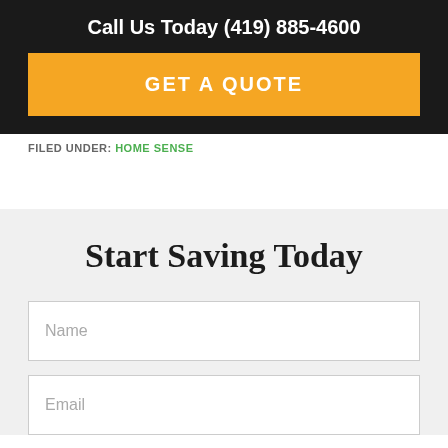Call Us Today (419) 885-4600
[Figure (other): Orange GET A QUOTE button]
FILED UNDER: HOME SENSE
Start Saving Today
Name
Email